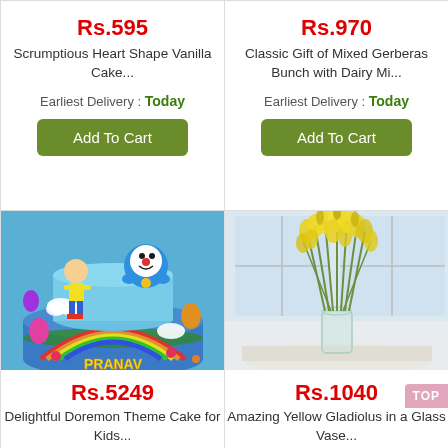Rs.595
Scrumptious Heart Shape Vanilla Cake...
Earliest Delivery : Today
Add To Cart
Rs.970
Classic Gift of Mixed Gerberas Bunch with Dairy Mi...
Earliest Delivery : Today
Add To Cart
[Figure (photo): Doraemon theme cake with fondant characters Nobita and Doraemon on a blue cake with name PRANAV]
Rs.5249
Delightful Doremon Theme Cake for Kids...
[Figure (photo): Yellow gladiolus flowers in a clear glass vase on a white table]
Rs.1040
Amazing Yellow Gladiolus in a Glass Vase...